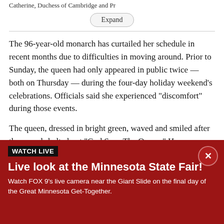Catherine, Duchess of Cambridge and Pr
Expand
The 96-year-old monarch has curtailed her schedule in recent months due to difficulties in moving around. Prior to Sunday, the queen had only appeared in public twice — both on Thursday — during the four-day holiday weekend's celebrations. Officials said she experienced "discomfort" during those events.
The queen, dressed in bright green, waved and smiled after the crowds belted out "God Save The Queen." Her
WATCH LIVE
Live look at the Minnesota State Fair!
Watch FOX 9's live camera near the Giant Slide on the final day of the Great Minnesota Get-Together.